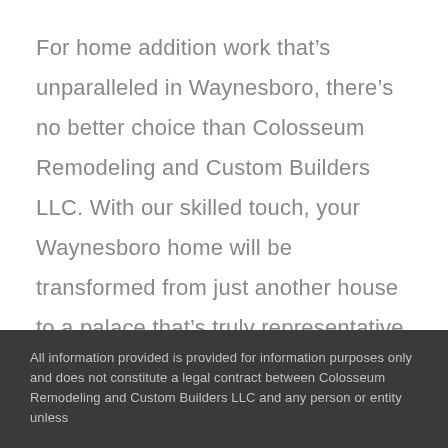For home addition work that’s unparalleled in Waynesboro, there’s no better choice than Colosseum Remodeling and Custom Builders LLC. With our skilled touch, your Waynesboro home will be transformed from just another house to a palace that’s truly representative of your taste and style. Contact us today to receive a quote for our services!
All information provided is provided for information purposes only and does not constitute a legal contract between Colosseum Remodeling and Custom Builders LLC and any person or entity unless